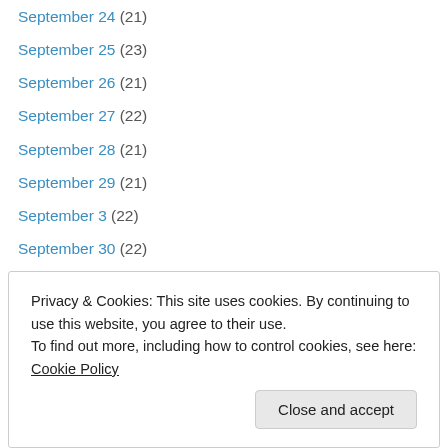September 24 (21)
September 25 (23)
September 26 (21)
September 27 (22)
September 28 (21)
September 29 (21)
September 3 (22)
September 30 (22)
September 4 (23)
September 5 (24)
September 6 (22)
September 7 (21)
September 8 (21)
Privacy & Cookies: This site uses cookies. By continuing to use this website, you agree to their use. To find out more, including how to control cookies, see here: Cookie Policy